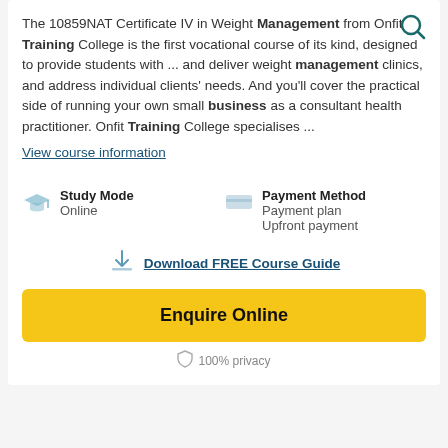The 10859NAT Certificate IV in Weight Management from Onfit Training College is the first vocational course of its kind, designed to provide students with ... and deliver weight management clinics, and address individual clients' needs. And you'll cover the practical side of running your own small business as a consultant health practitioner. Onfit Training College specialises ...
View course information
Study Mode
Online
Payment Method
Payment plan
Upfront payment
Download FREE Course Guide
Enquire Online
100% privacy